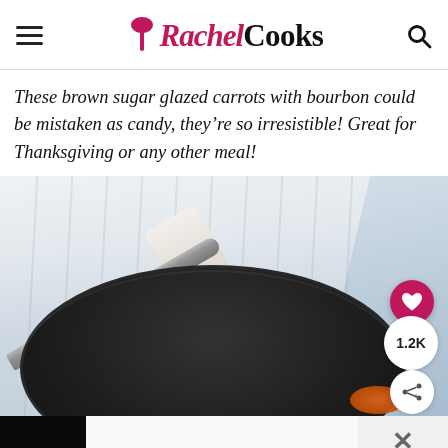Rachel Cooks
These brown sugar glazed carrots with bourbon could be mistaken as candy, they're so irresistible! Great for Thanksgiving or any other meal!
[Figure (photo): Close-up photo of a cast iron skillet with glazed carrots visible at the bottom edge, with a knife and a white cloth napkin in the background. Social share buttons (heart icon, 1.2K share count) visible on the right side.]